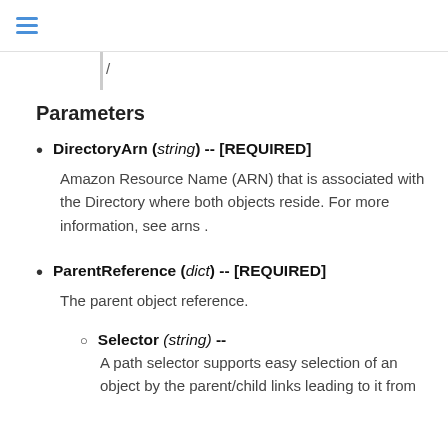/
Parameters
DirectoryArn (string) -- [REQUIRED]
Amazon Resource Name (ARN) that is associated with the Directory where both objects reside. For more information, see arns .
ParentReference (dict) -- [REQUIRED]
The parent object reference.
Selector (string) --
A path selector supports easy selection of an object by the parent/child links leading to it from